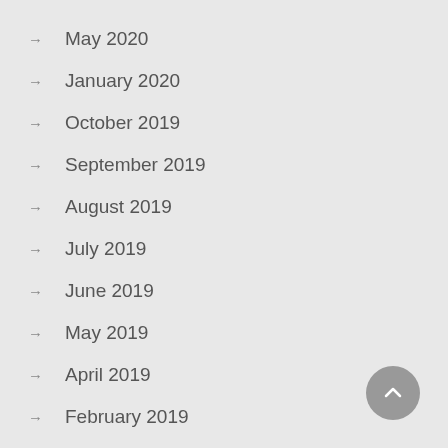May 2020
January 2020
October 2019
September 2019
August 2019
July 2019
June 2019
May 2019
April 2019
February 2019
January 2019
October 2018